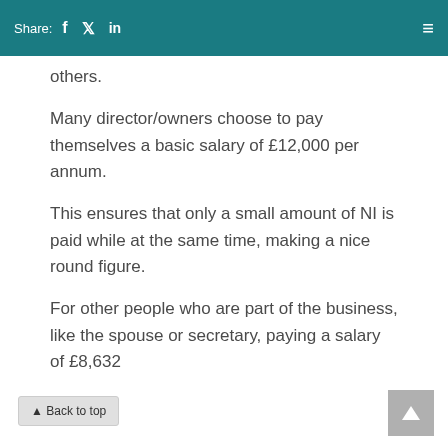Share: f  in
others.
Many director/owners choose to pay themselves a basic salary of £12,000 per annum.
This ensures that only a small amount of NI is paid while at the same time, making a nice round figure.
For other people who are part of the business, like the spouse or secretary, paying a salary of £8,632